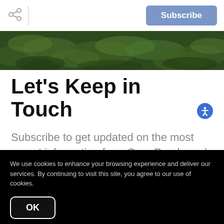Subscribe
[Figure (photo): Close-up photo of green grass field]
Let's Keep in Touch
Subscribe to get updated on the most recent information from Cara Pearlman |
We use cookies to enhance your browsing experience and deliver our services. By continuing to visit this site, you agree to our use of cookies.
OK